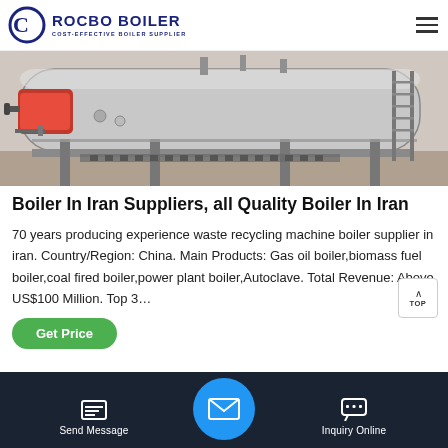[Figure (logo): Rocbo Boiler logo with circular C icon and text 'ROCBO BOILER / COST-EFFECTIVE BOILER SUPPLIER']
[Figure (photo): Industrial boiler equipment photo showing a large horizontal cylindrical boiler with pipes, valves, ladders, and support structures in a grey/metallic finish]
Boiler In Iran Suppliers, all Quality Boiler In Iran
70 years producing experience waste recycling machine boiler supplier in iran. Country/Region: China. Main Products: Gas oil boiler,biomass fuel boiler,coal fired boiler,power plant boiler,Autoclave. Total Revenue: Above US$100 Million. Top 3...
[Figure (other): Green 'Get Price' rounded button]
[Figure (other): Bottom navigation bar with 'Send Message' icon on left, blue circular email icon in center, and 'Inquiry Online' chat icon on right, on dark navy background]